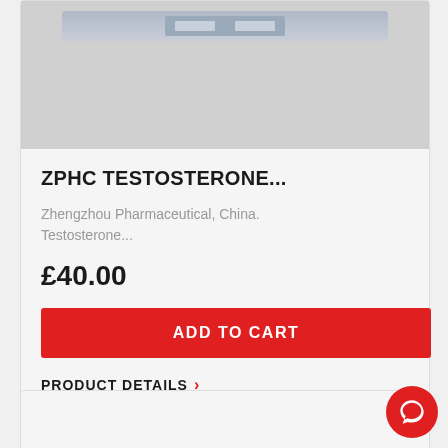[Figure (photo): Product image of ZPHC Testosterone packaging on grey background]
ZPHC TESTOSTERONE...
Zhengzhou Pharmaceutical, China. Testosterone...
£40.00
ADD TO CART
PRODUCT DETAILS
[Figure (photo): Second product card image area (partially visible)]